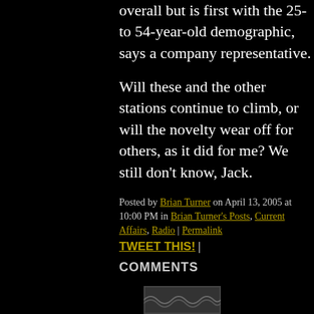overall but is first with the 25- to 54-year-old demographic, says a company representative.
Will these and the other stations continue to climb, or will the novelty wear off for others, as it did for me? We still don't know, Jack.
Posted by Brian Turner on April 13, 2005 at 10:00 PM in Brian Turner's Posts, Current Affairs, Radio | Permalink TWEET THIS! |
COMMENTS
[Figure (photo): Small thumbnail image at bottom of page]